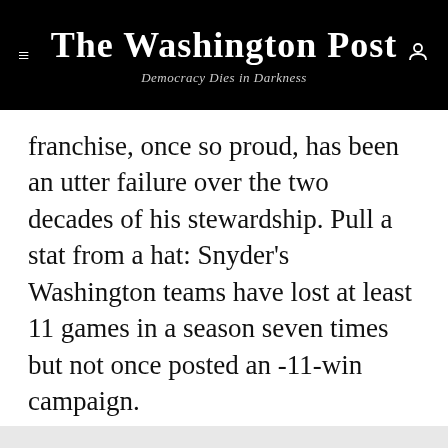The Washington Post — Democracy Dies in Darkness
franchise, once so proud, has been an utter failure over the two decades of his stewardship. Pull a stat from a hat: Snyder's Washington teams have lost at least 11 games in a season seven times but not once posted an 11-win campaign.
Story continues below advertisement